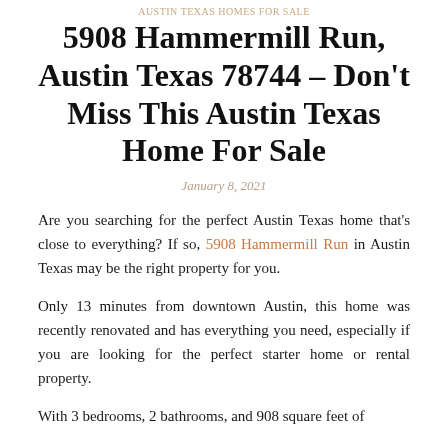Austin Texas Homes For Sale
5908 Hammermill Run, Austin Texas 78744 – Don't Miss This Austin Texas Home For Sale
January 8, 2021
Are you searching for the perfect Austin Texas home that's close to everything? If so, 5908 Hammermill Run in Austin Texas may be the right property for you.
Only 13 minutes from downtown Austin, this home was recently renovated and has everything you need, especially if you are looking for the perfect starter home or rental property.
With 3 bedrooms, 2 bathrooms, and 908 square feet of